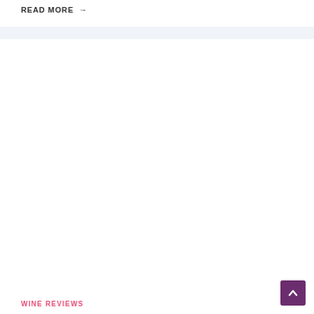READ MORE →
[Figure (other): Large white image/advertisement placeholder area]
WINE REVIEWS
Logan Wines 2018